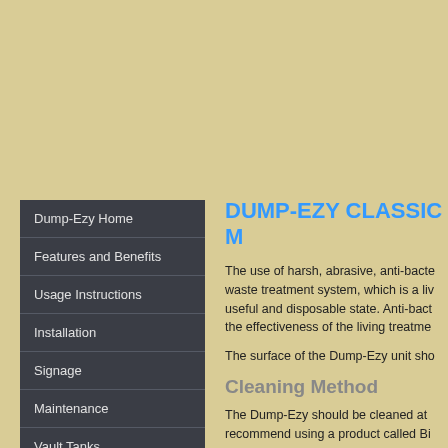Dump-Ezy Home
Features and Benefits
Usage Instructions
Installation
Signage
Maintenance
Vault Tanks
DUMP-EZY CLASSIC M
The use of harsh, abrasive, anti-bacte... waste treatment system, which is a liv... useful and disposable state. Anti-bact... the effectiveness of the living treatme...
The surface of the Dump-Ezy unit sho...
Cleaning Method
The Dump-Ezy should be cleaned at... recommend using a product called Bi...